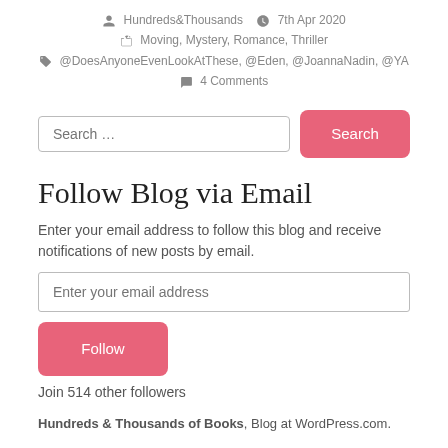Hundreds&Thousands  7th Apr 2020  Moving, Mystery, Romance, Thriller  @DoesAnyoneEvenLookAtThese, @Eden, @JoannaNadin, @YA  4 Comments
Search …
Follow Blog via Email
Enter your email address to follow this blog and receive notifications of new posts by email.
Enter your email address
Follow
Join 514 other followers
Hundreds & Thousands of Books, Blog at WordPress.com.